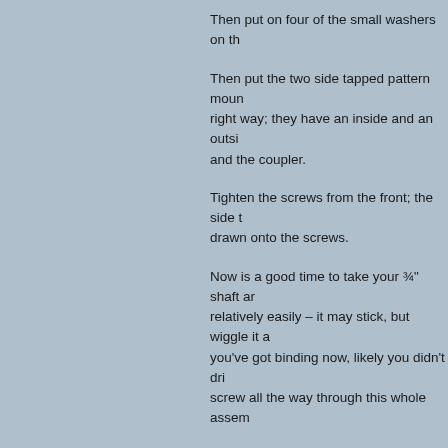Then put on four of the small washers on th
Then put the two side tapped pattern moun right way; they have an inside and an outsi and the coupler.
Tighten the screws from the front; the side drawn onto the screws.
Now is a good time to take your ¾" shaft ar relatively easily – it may stick, but wiggle it you've got binding now, likely you didn't dri screw all the way through this whole assem